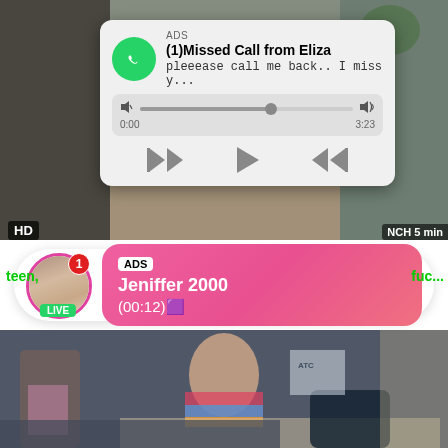[Figure (screenshot): Screenshot of a mobile screen showing two overlaid ad notifications on top of video content. Top notification is a WhatsApp-style missed call card from 'Eliza' with audio progress bar and playback controls, labeled ADS. Below is a live chat notification bubble showing 'Jeniffer 2000' with a (00:12) timer, also labeled ADS, with a green LIVE badge and red badge showing '1'. Background shows video content with HD and '5 min' labels. Bottom section shows a different video. Green text 'teen,' and 'fuc...' appear on either side.]